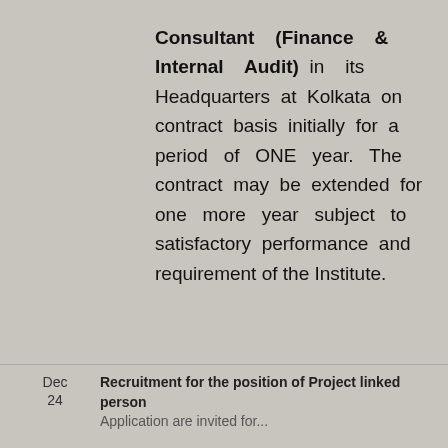Consultant (Finance & Internal Audit) in its Headquarters at Kolkata on contract basis initially for a period of ONE year. The contract may be extended for one more year subject to satisfactory performance and requirement of the Institute.
Contact email id: hrdunit@isical.ac.in
Download Jobs Form
Dec 24  Recruitment for the position of Project linked person